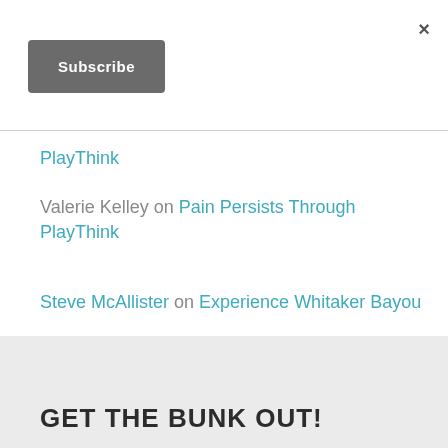×
Subscribe
PlayThink
Valerie Kelley on Pain Persists Through PlayThink
Steve McAllister on Experience Whitaker Bayou
GET THE BUNK OUT!